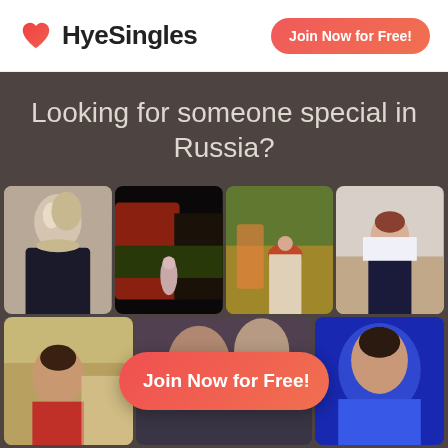[Figure (logo): HyeSingles logo with red heart icon and bold text]
Join Now for Free!
Looking for someone special in Russia?
[Figure (photo): Grid of 8 profile photos of women, with a coral 'Join Now for Free!' button overlaid in the center]
Join Now for Free!